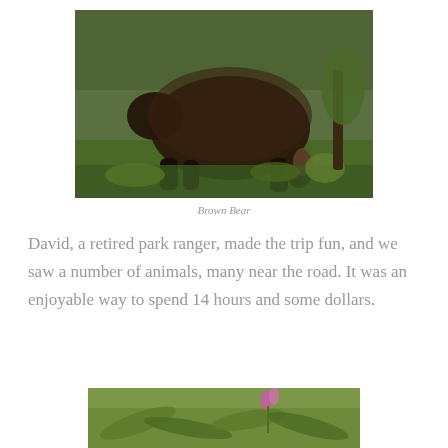[Figure (photo): A large brown bear walking through green shrubby vegetation in a field, viewed from the side/rear.]
Brown Bear
David, a retired park ranger, made the trip fun, and we saw a number of animals, many near the road. It was an enjoyable way to spend 14 hours and some dollars.
[Figure (photo): Partial view of green foliage with a pink flower visible, cropped at the bottom of the page.]